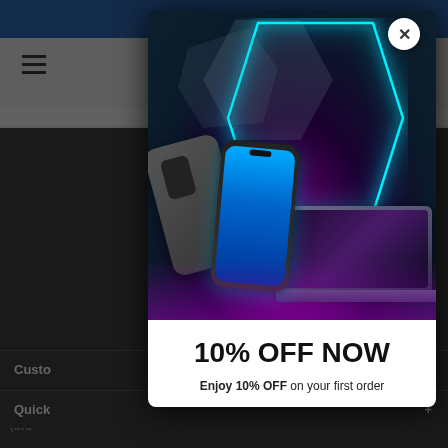[Figure (screenshot): E-commerce website screenshot showing a popup modal overlay with a discount offer. Background shows blue header bar, gray navigation with hamburger menu and cart icon, dark product area. A modal displays electronics (smartphone and laptop) with neon hexagon design, close button, and '10% OFF NOW' promotional text.]
10% OFF NOW
Enjoy 10% OFF on your first order